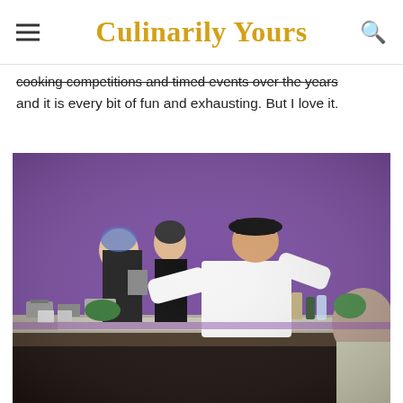Culinarily Yours
cooking competitions and timed events over the years and it is every bit of fun and exhausting. But I love it.
[Figure (photo): A chef in a white coat and black cap leans over a cooking station, actively preparing food. Two other people in black uniforms are visible in the background. The backdrop is purple. The foreground shows a table covered with cooking supplies, containers, and ingredients.]